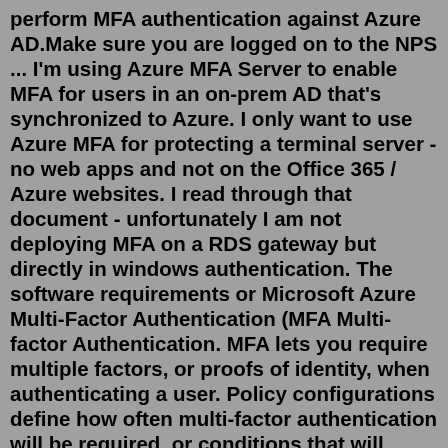perform MFA authentication against Azure AD.Make sure you are logged on to the NPS ... I'm using Azure MFA Server to enable MFA for users in an on-prem AD that's synchronized to Azure. I only want to use Azure MFA for protecting a terminal server - no web apps and not on the Office 365 / Azure websites. I read through that document - unfortunately I am not deploying MFA on a RDS gateway but directly in windows authentication. The software requirements or Microsoft Azure Multi-Factor Authentication (MFA Multi-factor Authentication. MFA lets you require multiple factors, or proofs of identity, when authenticating a user. Policy configurations define how often multi-factor authentication will be required, or conditions that will trigger it.we have global protect deployed with azure mfa authentication. its not fool proof as occasionally the firewall does not even try to send the auth requests out via the specified interface, for that we have to modify our authentication server profile, commit the change, and then magically the firewall starts sending...